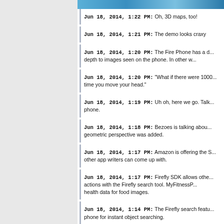[Figure (photo): Partial photo strip at top, appears to show a blue sky or similar image]
Jun 18, 2014, 1:22 PM: Oh, 3D maps, too!
Jun 18, 2014, 1:21 PM: The demo looks craxy
Jun 18, 2014, 1:20 PM: The Fire Phone has a d... depth to images seen on the phone. In other w...
Jun 18, 2014, 1:20 PM: "What if there were 1000... time you move your head."
Jun 18, 2014, 1:19 PM: Uh oh, here we go. Talk... phone.
Jun 18, 2014, 1:18 PM: Bezoes is talking abou... geometric perspective was added.
Jun 18, 2014, 1:17 PM: Amazon is offering the S... other app writers can come up with.
Jun 18, 2014, 1:17 PM: Firefly SDK allows othe... actions with the Firefly search tool. MyFitnessP... health data for food images.
Jun 18, 2014, 1:14 PM: The Firefly search featu... phone for instant object searching.